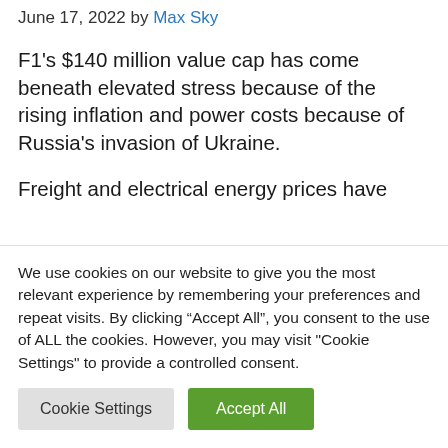June 17, 2022 by Max Sky
F1’s $140 million value cap has come beneath elevated stress because of the rising inflation and power costs because of Russia’s invasion of Ukraine.
Freight and electrical energy prices have
We use cookies on our website to give you the most relevant experience by remembering your preferences and repeat visits. By clicking “Accept All”, you consent to the use of ALL the cookies. However, you may visit "Cookie Settings" to provide a controlled consent.